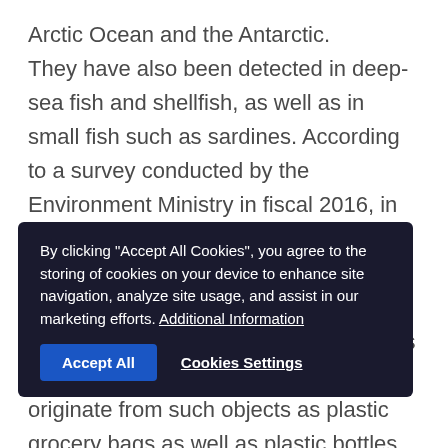Arctic Ocean and the Antarctic. They have also been detected in deep-sea fish and shellfish, as well as in small fish such as sardines. According to a survey conducted by the Environment Ministry in fiscal 2016, in the sea surrounding Japan, in some locations, more than about 70 pieces of plastics were found in one cubic meter of seawater. Small pieces of plastic less than five millimeters in diameter that originate from such objects as plastic grocery bags as well as plastic bottles. They enter the sea and are broken down by ultraviolet rays and waves, eventually becoming microplastics that easily absorb toxic chemical substances. A research group from Kyushu University and other
By clicking "Accept All Cookies", you agree to the storing of cookies on your device to enhance site navigation, analyze site usage, and assist in our marketing efforts. Additional Information